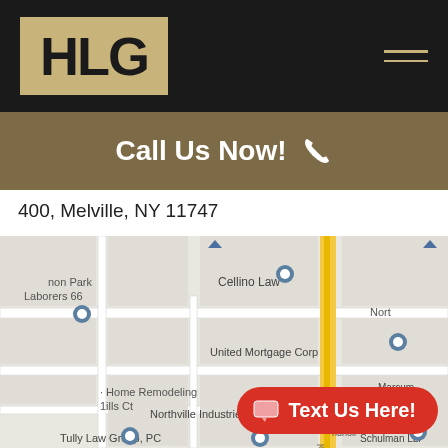[Figure (logo): HLG law firm logo — bold H, L, G letters on tan/gold background, set in black navigation bar with hamburger menu icon]
Call Us Now! 📞
400, Melville, NY 11747
[Figure (map): Google Maps screenshot showing Melville NY area with pins for Cellino Law, Laborers 66, United Mortgage Corp, Northville Industries, Home Remodeling, Tully Law Group PC, Schulman LLP, Marcum. Yellow highway visible.]
Text Us Here!